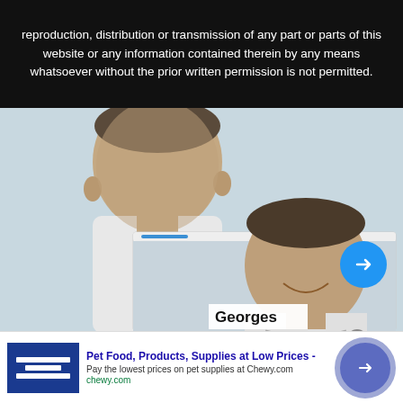reproduction, distribution or transmission of any part or parts of this website or any information contained therein by any means whatsoever without the prior written permission is not permitted.
[Figure (photo): Two photos of a man (Georges) in a white shirt with a chain necklace, smiling, with a short buzz cut, outdoors against a light sky background. Two overlapping images shown as if in a video player interface with a blue progress bar.]
Georges
Pet Food, Products, Supplies at Low Prices -
Pay the lowest prices on pet supplies at Chewy.com
chewy.com